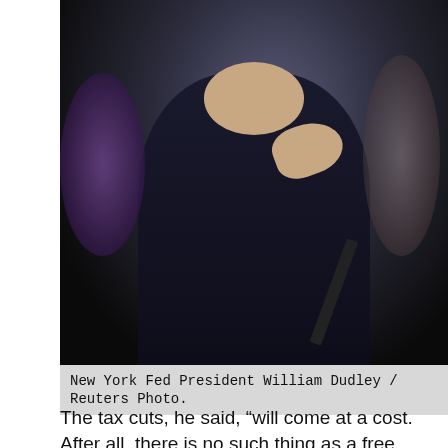[Figure (photo): Man in dark suit speaking at a podium or event, gesturing with his right hand, wearing glasses, with a dark background and microphone visible. New York Fed President William Dudley.]
New York Fed President William Dudley / Reuters Photo.
The tax cuts, he said, “will come at a cost. After all, there is no such thing as a free lunch.”
The legislation was signed into law last month as Trump’s first significant accomplishment as president.
It slashes corporate income tax by 14